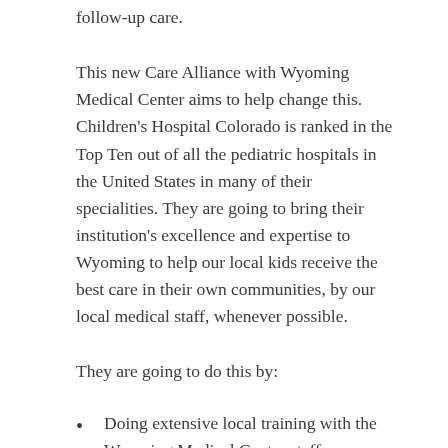follow-up care.
This new Care Alliance with Wyoming Medical Center aims to help change this. Children’s Hospital Colorado is ranked in the Top Ten out of all the pediatric hospitals in the United States in many of their specialities. They are going to bring their institution’s excellence and expertise to Wyoming to help our local kids receive the best care in their own communities, by our local medical staff, whenever possible.
They are going to do this by:
Doing extensive local training with the Wyoming Medical Center staff on pediatric cancer across many departments
Allowing staff from Wyoming Medical Center to